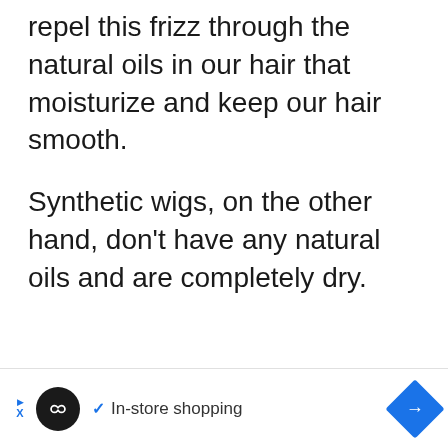repel this frizz through the natural oils in our hair that moisturize and keep our hair smooth.
Synthetic wigs, on the other hand, don't have any natural oils and are completely dry.
[Figure (other): Advertisement footer bar with Loopy (infinity loop) brand logo, a blue checkmark with 'In-store shopping' text, and a blue diamond-shaped arrow navigation button. Has an ad label triangle and X on the left.]